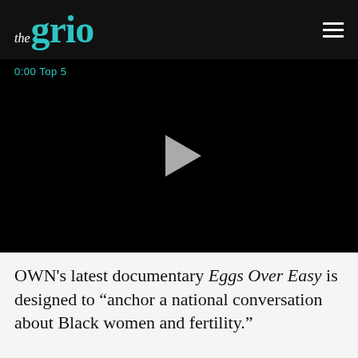theGrio
[Figure (screenshot): Video player with black background showing a play button in the center, with a teal timestamp label '0:00 Top 5' in the upper left corner]
OWN's latest documentary Eggs Over Easy is designed to "anchor a national conversation about Black women and fertility."